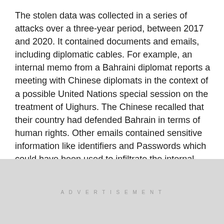The stolen data was collected in a series of attacks over a three-year period, between 2017 and 2020. It contained documents and emails, including diplomatic cables. For example, an internal memo from a Bahraini diplomat reports a meeting with Chinese diplomats in the context of a possible United Nations special session on the treatment of Uighurs. The Chinese recalled that their country had defended Bahrain in terms of human rights. Other emails contained sensitive information like identifiers and Passwords which could have been used to infiltrate the internal networks of the ministries and firms concerned.
Resecurity did not name those responsible for these
ADVERTISEMENT